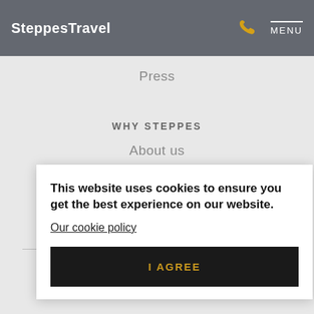SteppesTravel  MENU
Press
WHY STEPPES
About us
Our Team
Events
This website uses cookies to ensure you get the best experience on our website.
Our cookie policy
I AGREE